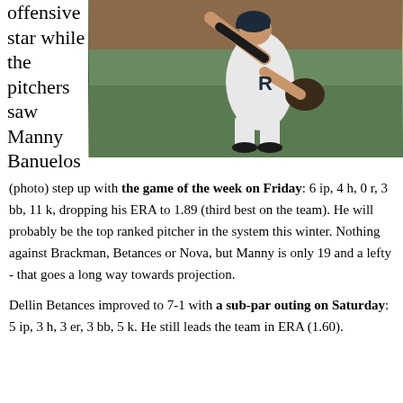offensive star while the pitchers saw Manny Banuelos
[Figure (photo): Baseball pitcher Manny Banuelos in white uniform mid-throwing motion on a baseball field]
(photo) step up with the game of the week on Friday: 6 ip, 4 h, 0 r, 3 bb, 11 k, dropping his ERA to 1.89 (third best on the team). He will probably be the top ranked pitcher in the system this winter. Nothing against Brackman, Betances or Nova, but Manny is only 19 and a lefty - that goes a long way towards projection.
Dellin Betances improved to 7-1 with a sub-par outing on Saturday: 5 ip, 3 h, 3 er, 3 bb, 5 k. He still leads the team in ERA (1.60).